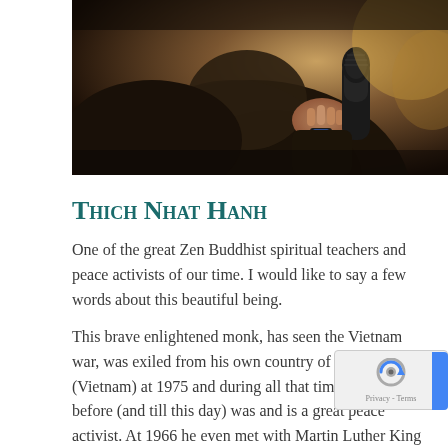[Figure (photo): Close-up photo of a person in dark clothing holding a microphone, background blurred with autumn colors]
Thich Nhat Hanh
One of the great Zen Buddhist spiritual teachers and peace activists of our time. I would like to say a few words about this beautiful being.
This brave enlightened monk, has seen the Vietnam war, was exiled from his own country of origin (Vietnam) at 1975 and during all that time and much before (and till this day) was and is a great peace activist. At 1966 he even met with Martin Luther King